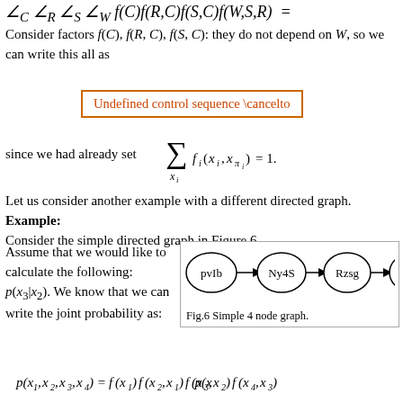Consider factors f(C), f(R,C), f(S,C): they do not depend on W, so we can write this all as
[Figure (other): Error box: Undefined control sequence \cancelto]
Let us consider another example with a different directed graph.
Example:
Consider the simple directed graph in Figure 6.
Assume that we would like to calculate the following: p(x_3|x_2). We know that we can write the joint probability as:
[Figure (network-graph): Simple 4 node directed graph: pvIb -> Ny4S -> Rzsg -> ELrE]
Fig.6 Simple 4 node graph.